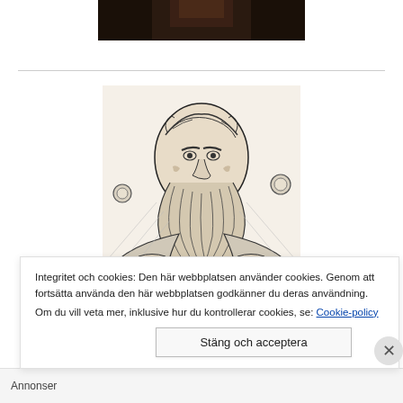[Figure (photo): Dark photograph fragment at top of page, partially visible]
[Figure (illustration): Black and white woodcut illustration of a bearded man in fur-trimmed robes, historical portrait style]
Integritet och cookies: Den här webbplatsen använder cookies. Genom att fortsätta använda den här webbplatsen godkänner du deras användning.
Om du vill veta mer, inklusive hur du kontrollerar cookies, se: Cookie-policy
Stäng och acceptera
Annonser